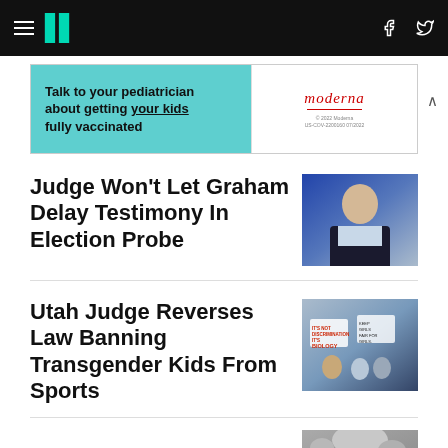HuffPost navigation with hamburger menu, logo, Facebook and Twitter icons
[Figure (infographic): Moderna vaccine advertisement: 'Talk to your pediatrician about getting your kids fully vaccinated' on teal background, Moderna logo on white background]
Judge Won't Let Graham Delay Testimony In Election Probe
[Figure (photo): Photo of Lindsey Graham speaking at an event, wearing a dark suit]
Utah Judge Reverses Law Banning Transgender Kids From Sports
[Figure (photo): Photo of protesters holding signs reading 'It's not discrimination it's biology' and 'Fairness in sports']
[Figure (photo): Partial photo of a person with gray hair at the bottom of the page]